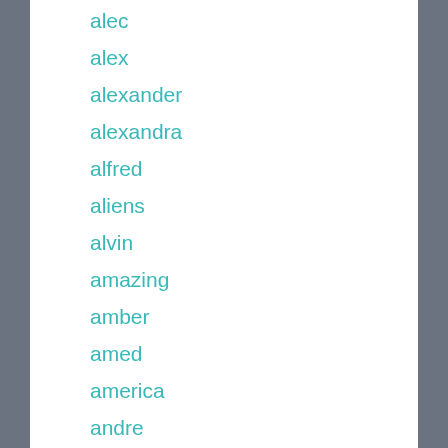alec
alex
alexander
alexandra
alfred
aliens
alvin
amazing
amber
amed
america
andre
andrew